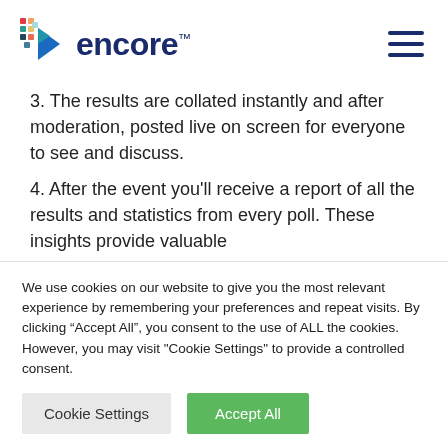encore
3. The results are collated instantly and after moderation, posted live on screen for everyone to see and discuss.
4. After the event you'll receive a report of all the results and statistics from every poll. These insights provide valuable
We use cookies on our website to give you the most relevant experience by remembering your preferences and repeat visits. By clicking “Accept All”, you consent to the use of ALL the cookies. However, you may visit “Cookie Settings” to provide a controlled consent.